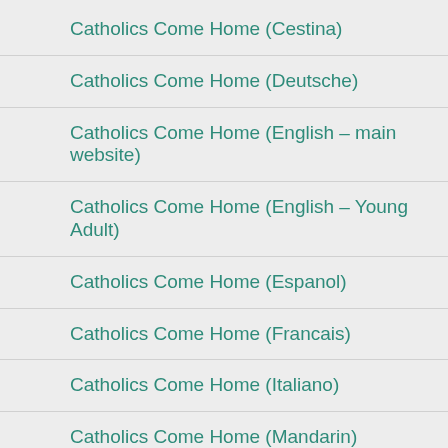Catholics Come Home (Cestina)
Catholics Come Home (Deutsche)
Catholics Come Home (English – main website)
Catholics Come Home (English – Young Adult)
Catholics Come Home (Espanol)
Catholics Come Home (Francais)
Catholics Come Home (Italiano)
Catholics Come Home (Mandarin)